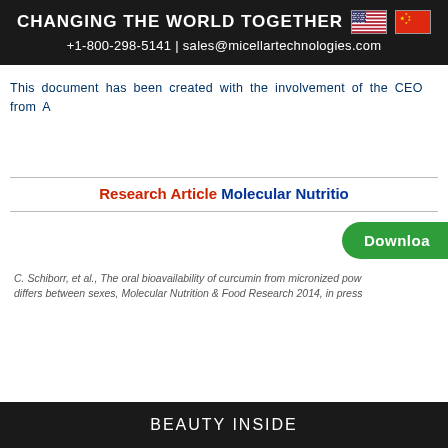CHANGING THE WORLD TOGETHER +1-800-298-5141 | sales@micellartechnologies.com
This document has been created with the involvement of the CEO from A
Research Article Molecular Nutritio
[Figure (other): Green Download button]
C. Schiborr, et al., The oral bioavailability of curcumin from micronized pow differs between sexes, Molecular Nutrition & Food Research 2014, in press
BEAUTY INSIDE